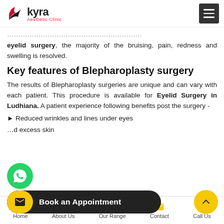Kyra Aesthetic Clinic
eyelid surgery, the majority of the bruising, pain, redness and swelling is resolved.
Key features of Blepharoplasty surgery
The results of Blepharoplasty surgeries are unique and can vary with each patient. This procedure is available for Eyelid Surgery in Ludhiana. A patient experience following benefits post the surgery -
Reduced wrinkles and lines under eyes
d excess skin
Home | About Us | Our Range | Contact | Call Us